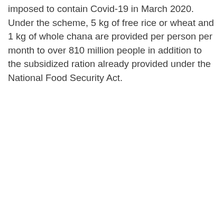imposed to contain Covid-19 in March 2020. Under the scheme, 5 kg of free rice or wheat and 1 kg of whole chana are provided per person per month to over 810 million people in addition to the subsidized ration already provided under the National Food Security Act.